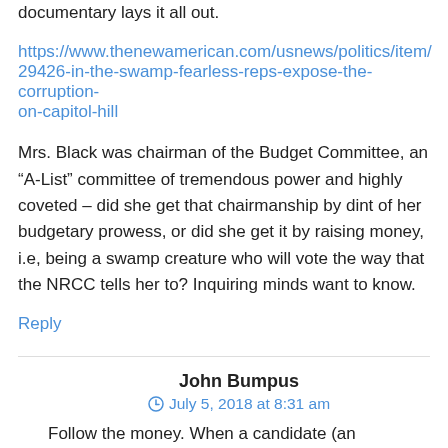documentary lays it all out.
https://www.thenewamerican.com/usnews/politics/item/29426-in-the-swamp-fearless-reps-expose-the-corruption-on-capitol-hill
Mrs. Black was chairman of the Budget Committee, an “A-List” committee of tremendous power and highly coveted – did she get that chairmanship by dint of her budgetary prowess, or did she get it by raising money, i.e, being a swamp creature who will vote the way that the NRCC tells her to? Inquiring minds want to know.
Reply
John Bumpus
July 5, 2018 at 8:31 am
Follow the money. When a candidate (an experienced pol like Black) spends ‘big bucks’ to produce and broadcast state-wide an ‘attack ad’ against an opponent, there is a